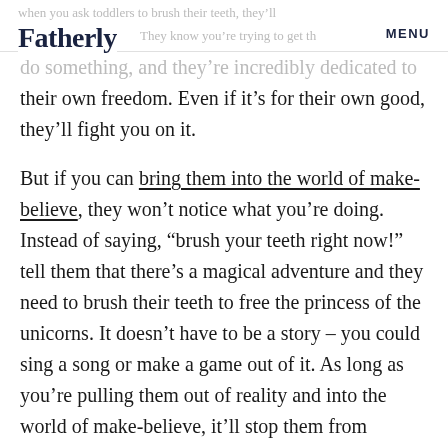Fatherly  MENU
do something, and they’re incredibly dedicated to their own freedom. Even if it’s for their own good, they’ll fight you on it.
But if you can bring them into the world of make-believe, they won’t notice what you’re doing. Instead of saying, “brush your teeth right now!” tell them that there’s a magical adventure and they need to brush their teeth to free the princess of the unicorns. It doesn’t have to be a story – you could sing a song or make a game out of it. As long as you’re pulling them out of reality and into the world of make-believe, it’ll stop them from fighting you on it.